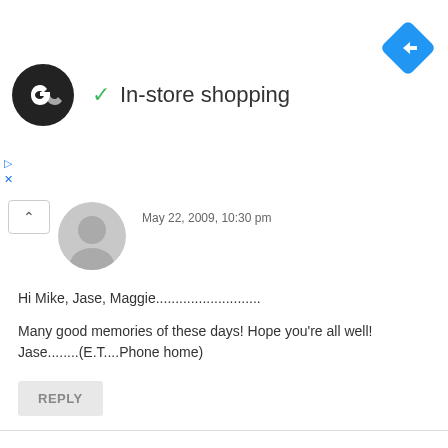[Figure (logo): Black circular logo with double-arrow infinity-style icon]
✓ In-store shopping
[Figure (logo): Blue diamond navigation/directions icon]
May 22, 2009, 10:30 pm
Hi Mike, Jase, Maggie..........................
Many good memories of these days! Hope you're all well! Jase........(E.T....Phone home)
REPLY
IAN CHISHOLM
January 25, 2011, 11:58 am